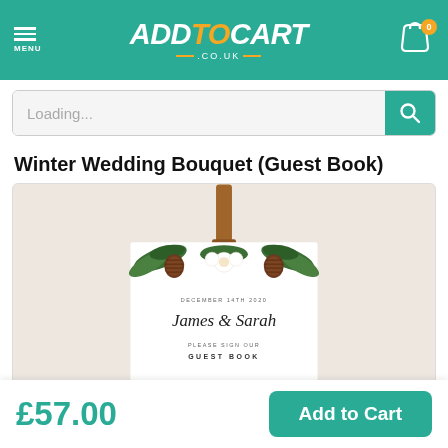ADDTOCART .CO.UK
Loading...
Winter Wedding Bouquet (Guest Book)
[Figure (photo): Product image of a winter wedding guest book sign with pine cones, greenery, and white flowers at the top. The card reads: DECEMBER 14TH 2020 / James & Sarah / PLEASE SIGN OUR / GUEST BOOK. The card is clipped with a brown clip and hangs against a warm beige background.]
£57.00
Add to Cart